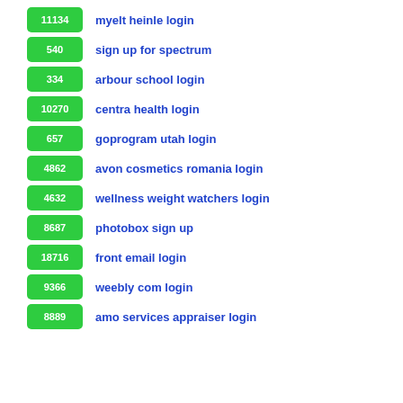11134 myelt heinle login
540 sign up for spectrum
334 arbour school login
10270 centra health login
657 goprogram utah login
4862 avon cosmetics romania login
4632 wellness weight watchers login
8687 photobox sign up
18716 front email login
9366 weebly com login
8889 amo services appraiser login